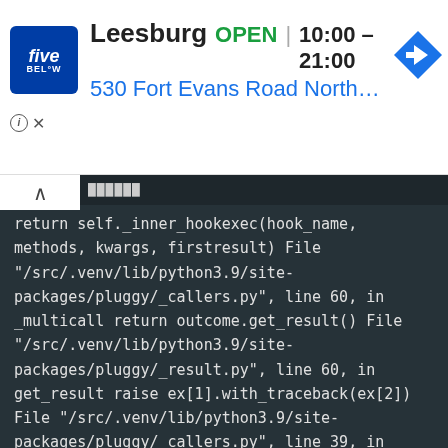[Figure (screenshot): Five Below advertisement banner showing store 'Leesburg', status 'OPEN', hours '10:00 – 21:00', address '530 Fort Evans Road Northeast ..', Five Below logo in blue on left, navigation arrow icon on right]
return self._inner_hookexec(hook_name,
methods, kwargs, firstresult)
  File "/src/.venv/lib/python3.9/site-packages/pluggy/_callers.py", line 60, in
_multicall
        return outcome.get_result()
  File "/src/.venv/lib/python3.9/site-packages/pluggy/_result.py", line 60, in
get_result
        raise ex[1].with_traceback(ex[2])
  File "/src/.venv/lib/python3.9/site-packages/pluggy/_callers.py", line 39, in
_multicall